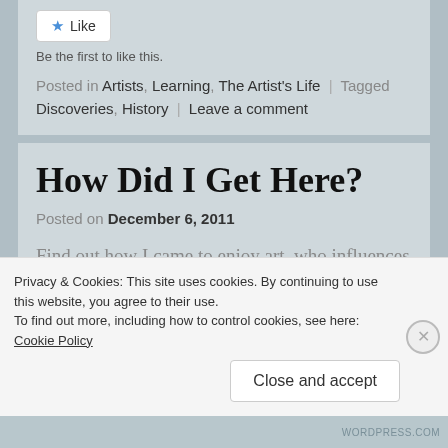[Figure (screenshot): Like button widget with star icon]
Be the first to like this.
Posted in Artists, Learning, The Artist's Life | Tagged Discoveries, History | Leave a comment
How Did I Get Here?
Posted on December 6, 2011
Find out how I came to enjoy art, who influences me,
Privacy & Cookies: This site uses cookies. By continuing to use this website, you agree to their use. To find out more, including how to control cookies, see here: Cookie Policy
Close and accept